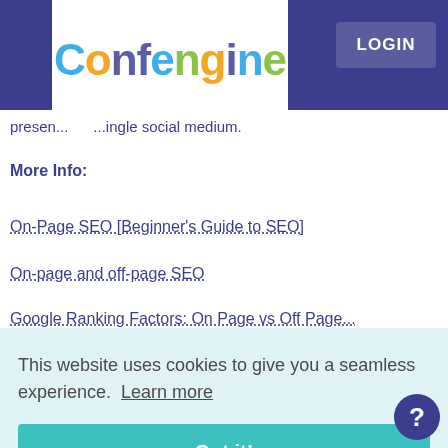Confengine | LOGIN
presen... ...single social medium.
More Info:
On-Page SEO [Beginner's Guide to SEO]
On-page and off-page SEO
Google Ranking Factors: On Page vs Off Page...
This website uses cookies to give you a seamless experience. Learn more
Got it!